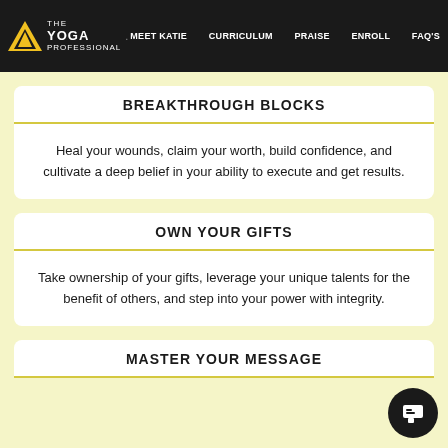THE YOGA PROFESSIONAL · MEET KATIE · CURRICULUM · PRAISE · ENROLL · FAQ'S
BREAKTHROUGH BLOCKS
Heal your wounds, claim your worth, build confidence, and cultivate a deep belief in your ability to execute and get results.
OWN YOUR GIFTS
Take ownership of your gifts, leverage your unique talents for the benefit of others, and step into your power with integrity.
MASTER YOUR MESSAGE